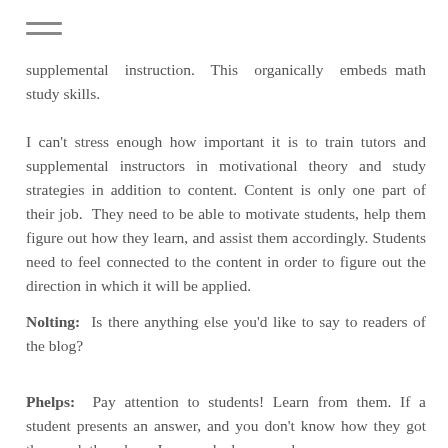☰
supplemental instruction. This organically embeds math study skills.
I can't stress enough how important it is to train tutors and supplemental instructors in motivational theory and study strategies in addition to content. Content is only one part of their job. They need to be able to motivate students, help them figure out how they learn, and assist them accordingly. Students need to feel connected to the content in order to figure out the direction in which it will be applied.
Nolting: Is there anything else you'd like to say to readers of the blog?
Phelps: Pay attention to students! Learn from them. If a student presents an answer, and you don't know how they got there, ask them how. I once asked a man who